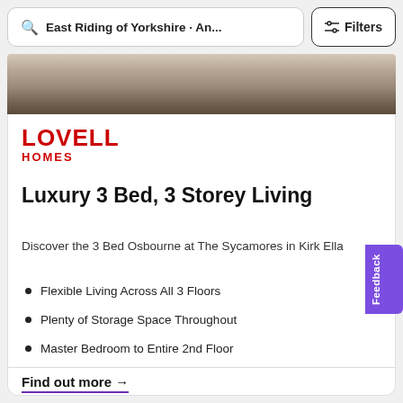East Riding of Yorkshire · An...   Filters
[Figure (photo): Interior photo showing a beige/brown carpeted floor with a TV unit and wooden furniture]
[Figure (logo): Lovell Homes logo in red text]
Luxury 3 Bed, 3 Storey Living
Discover the 3 Bed Osbourne at The Sycamores in Kirk Ella
Flexible Living Across All 3 Floors
Plenty of Storage Space Throughout
Master Bedroom to Entire 2nd Floor
Find out more →